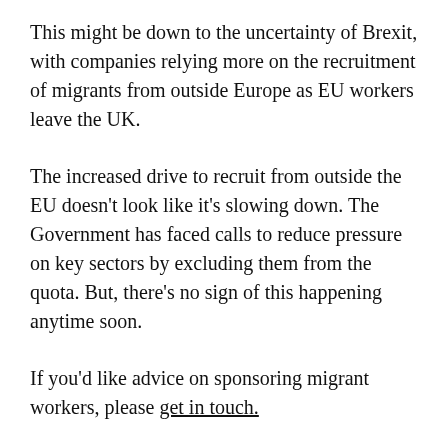This might be down to the uncertainty of Brexit, with companies relying more on the recruitment of migrants from outside Europe as EU workers leave the UK.
The increased drive to recruit from outside the EU doesn't look like it's slowing down. The Government has faced calls to reduce pressure on key sectors by excluding them from the quota. But, there's no sign of this happening anytime soon.
If you'd like advice on sponsoring migrant workers, please get in touch.